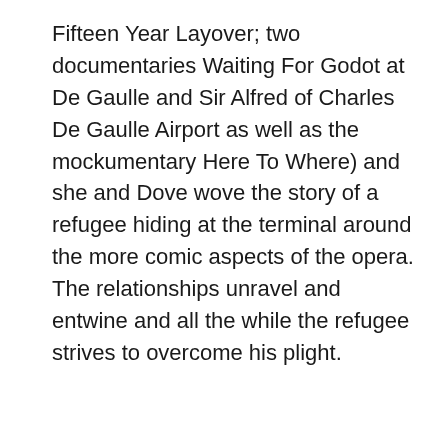Fifteen Year Layover; two documentaries Waiting For Godot at De Gaulle and Sir Alfred of Charles De Gaulle Airport as well as the mockumentary Here To Where) and she and Dove wove the story of a refugee hiding at the terminal around the more comic aspects of the opera. The relationships unravel and entwine and all the while the refugee strives to overcome his plight.